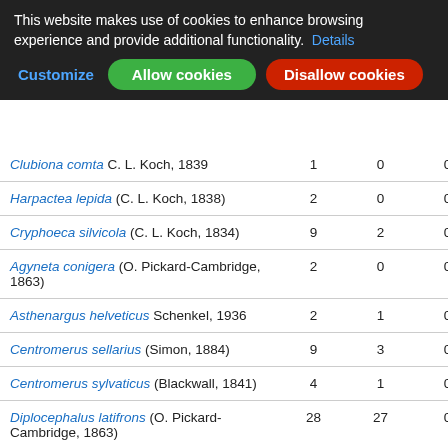This website makes use of cookies to enhance browsing experience and provide additional functionality. Details
| Species |  |  |  |  |
| --- | --- | --- | --- | --- |
| Clubiona comta C. L. Koch, 1839 | 1 | 0 | 0 | 1 |
| Harpactea lepida (C. L. Koch, 1838) | 2 | 0 | 0 | 1 |
| Cryphoeca silvicola (C. L. Koch, 1834) | 9 | 2 | 0 | 1 |
| Agyneta conigera (O. Pickard-Cambridge, 1863) | 2 | 0 | 0 | 1 |
| Asthenargus helveticus Schenkel, 1936 | 2 | 1 | 0 | 2 |
| Centromerus sellarius (Simon, 1884) | 9 | 3 | 0 | 3 |
| Centromerus sylvaticus (Blackwall, 1841) | 4 | 1 | 0 | 1 |
| Diplocephalus latifrons (O. Pickard-Cambridge, 1863) | 28 | 27 | 0 | 5 |